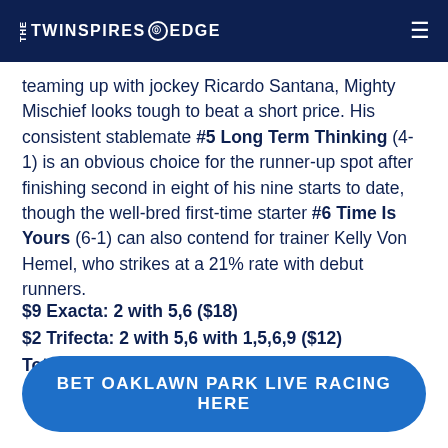THE TWINSPIRES EDGE
teaming up with jockey Ricardo Santana, Mighty Mischief looks tough to beat a short price. His consistent stablemate #5 Long Term Thinking (4-1) is an obvious choice for the runner-up spot after finishing second in eight of his nine starts to date, though the well-bred first-time starter #6 Time Is Yours (6-1) can also contend for trainer Kelly Von Hemel, who strikes at a 21% rate with debut runners.
$9 Exacta: 2 with 5,6 ($18)
$2 Trifecta: 2 with 5,6 with 1,5,6,9 ($12)
Total: $30
BET OAKLAWN PARK LIVE RACING HERE